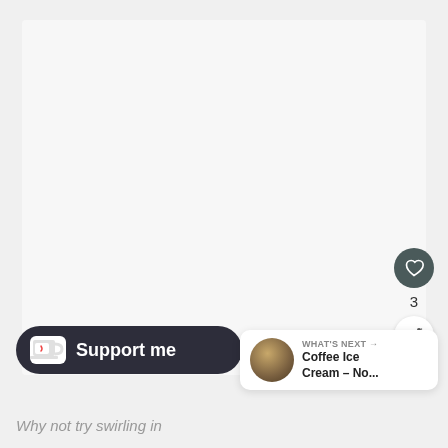[Figure (photo): Large light gray image area (main content photo placeholder)]
[Figure (infographic): Heart/like button (dark teal circle with white heart icon) and count '3', plus share button]
[Figure (infographic): Support me button - dark rounded pill with coffee cup icon and text 'Support me']
Why not try swirling in
[Figure (infographic): WHAT'S NEXT card with thumbnail and title 'Coffee Ice Cream – No...']